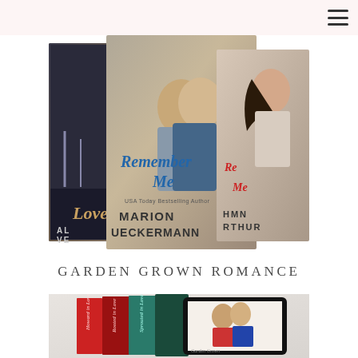[Figure (photo): Three overlapping romance novel book covers featuring couples. Center book shows 'Remember Me' by Marion Ueckermann. Left partial cover shows 'Love' with 'Al Ve' visible. Right partial cover shows partial text with 'Hmn rthur'.]
GARDEN GROWN ROMANCE
[Figure (photo): A boxed set of romance novels with book spines visible (red, teal, dark green covers with cursive titles) alongside a tablet/e-reader displaying a couple embracing.]